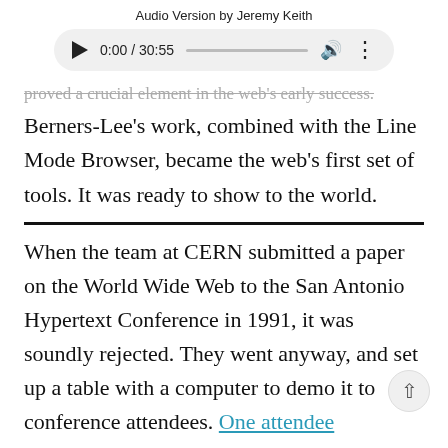Audio Version by Jeremy Keith
[Figure (other): Audio player UI showing play button, time display 0:00 / 30:55, progress bar, volume icon, and more options icon]
proved a crucial element in the web's early success.
Berners-Lee's work, combined with the Line Mode Browser, became the web's first set of tools. It was ready to show to the world.
When the team at CERN submitted a paper on the World Wide Web to the San Antonio Hypertext Conference in 1991, it was soundly rejected. They went anyway, and set up a table with a computer to demo it to conference attendees. One attendee remarked:
They have chutzpah calling that the World Wide Web!